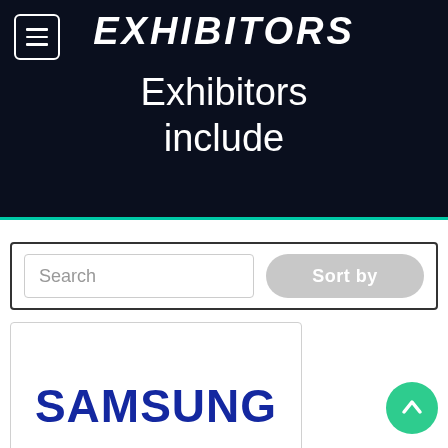EXHIBITORS
Exhibitors include
Search
Sort by
[Figure (logo): Samsung logo in bold blue letters on white background inside a bordered rectangle]
Samsung Semiconductors Inc
Stand 72